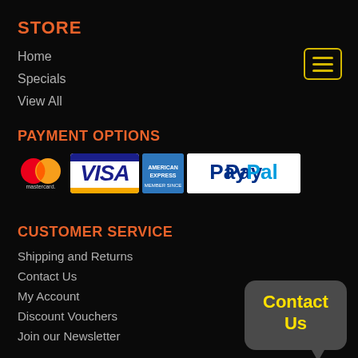STORE
Home
Specials
View All
PAYMENT OPTIONS
[Figure (logo): Payment method logos: Mastercard, Visa, American Express, PayPal]
CUSTOMER SERVICE
Shipping and Returns
Contact Us
My Account
Discount Vouchers
Join our Newsletter
Contact Us